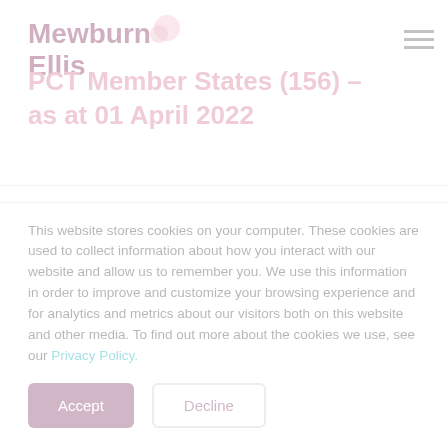Mewburn Ellis
PCT Member States (156) – as at 01 April 2022
Albania - AL
Germany - DE (EP)
Algeria - DZ
Ghana - GH (AP)
Angola - AO
Greece - GR (EP)¹
Antigua and Barbuda - AG
Grenada - GD
This website stores cookies on your computer. These cookies are used to collect information about how you interact with our website and allow us to remember you. We use this information in order to improve and customize your browsing experience and for analytics and metrics about our visitors both on this website and other media. To find out more about the cookies we use, see our Privacy Policy.